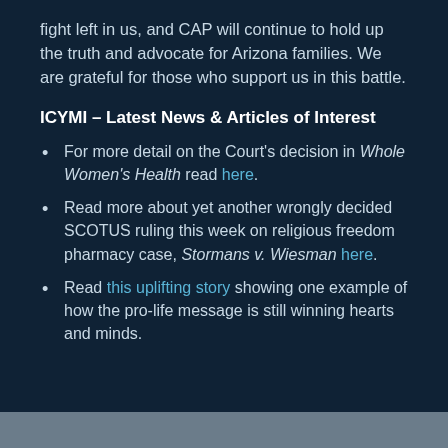fight left in us, and CAP will continue to hold up the truth and advocate for Arizona families. We are grateful for those who support us in this battle.
ICYMI – Latest News & Articles of Interest
For more detail on the Court's decision in Whole Women's Health read here.
Read more about yet another wrongly decided SCOTUS ruling this week on religious freedom pharmacy case, Stormans v. Wiesman here.
Read this uplifting story showing one example of how the pro-life message is still winning hearts and minds.